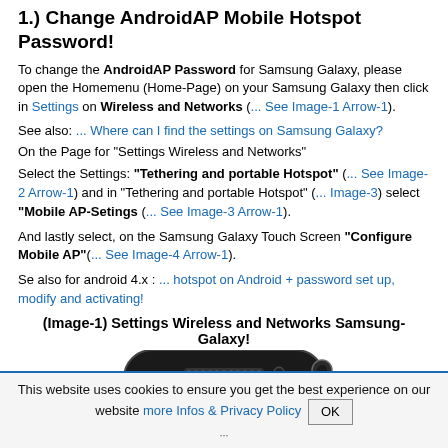1.) Change AndroidAP Mobile Hotspot Password!
To change the AndroidAP Password for Samsung Galaxy, please open the Homemenu (Home-Page) on your Samsung Galaxy then click in Settings on Wireless and Networks (... See Image-1 Arrow-1).
See also: ... Where can I find the settings on Samsung Galaxy?
On the Page for "Settings Wireless and Networks"
Select the Settings: "Tethering and portable Hotspot" (... See Image-2 Arrow-1) and in "Tethering and portable Hotspot" (... Image-3) select "Mobile AP-Setings (... See Image-3 Arrow-1).
And lastly select, on the Samsung Galaxy Touch Screen "Configure Mobile AP"(... See Image-4 Arrow-1).
Se also for android 4.x : ... hotspot on Android + password set up, modify and activating!
(Image-1) Settings Wireless and Networks Samsung-Galaxy!
[Figure (photo): Photo of a Samsung Galaxy phone bottom portion showing speaker/connector area]
This website uses cookies to ensure you get the best experience on our website more Infos & Privacy Policy OK